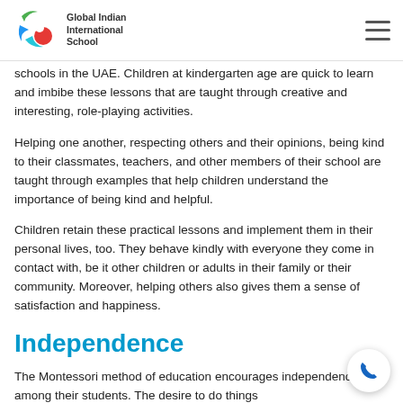Global Indian International School
schools in the UAE. Children at kindergarten age are quick to learn and imbibe these lessons that are taught through creative and interesting, role-playing activities.
Helping one another, respecting others and their opinions, being kind to their classmates, teachers, and other members of their school are taught through examples that help children understand the importance of being kind and helpful.
Children retain these practical lessons and implement them in their personal lives, too. They behave kindly with everyone they come in contact with, be it other children or adults in their family or their community. Moreover, helping others also gives them a sense of satisfaction and happiness.
Independence
The Montessori method of education encourages independence among their students. The desire to do things